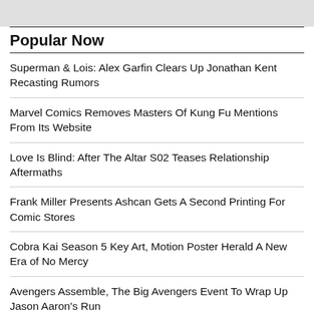[Figure (other): Gray banner image at top of page]
Popular Now
Superman & Lois: Alex Garfin Clears Up Jonathan Kent Recasting Rumors
Marvel Comics Removes Masters Of Kung Fu Mentions From Its Website
Love Is Blind: After The Altar S02 Teases Relationship Aftermaths
Frank Miller Presents Ashcan Gets A Second Printing For Comic Stores
Cobra Kai Season 5 Key Art, Motion Poster Herald A New Era of No Mercy
Avengers Assemble, The Big Avengers Event To Wrap Up Jason Aaron's Run
Yehudi Mercado Apologises For "Miles Thor-ales" Portrayal